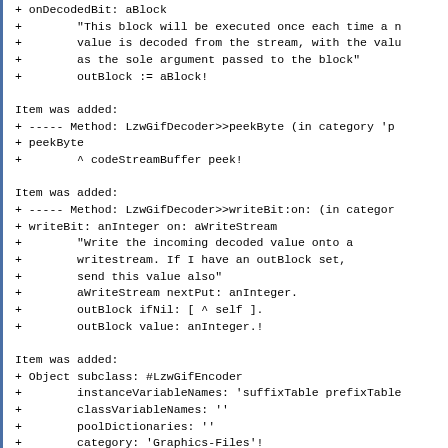+ onDecodedBit: aBlock
+        "This block will be executed once each time a n
+        value is decoded from the stream, with the valu
+        as the sole argument passed to the block"
+        outBlock := aBlock!

Item was added:
+ ----- Method: LzwGifDecoder>>peekByte (in category 'p
+ peekByte
+        ^ codeStreamBuffer peek!

Item was added:
+ ----- Method: LzwGifDecoder>>writeBit:on: (in categor
+ writeBit: anInteger on: aWriteStream
+        "Write the incoming decoded value onto a
+        writestream. If I have an outBlock set,
+        send this value also"
+        aWriteStream nextPut: anInteger.
+        outBlock ifNil: [ ^ self ].
+        outBlock value: anInteger.!

Item was added:
+ Object subclass: #LzwGifEncoder
+        instanceVariableNames: 'suffixTable prefixTable
+        classVariableNames: ''
+        poolDictionaries: ''
+        category: 'Graphics-Files'!
+
+ !LzwGifEncoder commentStamp: '' prior: 0!
+ I implement the modified Lempel-Ziv-Welch (LZW) algor